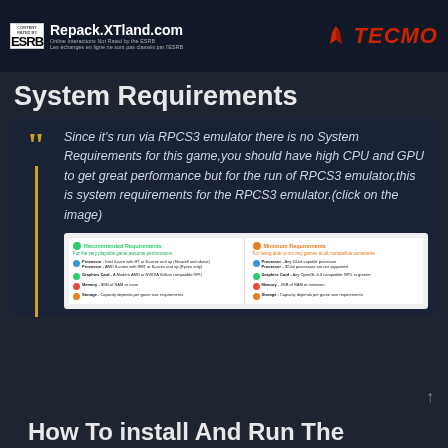[Figure (screenshot): Top banner with ESRB logo, Repack.XTland.com site name, bilingual ESRB notice, and Tecmo logo]
System Requirements
Since it’s run via RPCS3 emulator there is no System Requirements for this game,you should have high CPU and GPU to get great performance but for the run of RPCS3 emulator,this is system requirements for the RPCS3 emulator.(click on the image)
[Figure (screenshot): RPCS3 emulator system requirements table showing Recommended and Minimum requirements for Processor, Graphics Card, Memory, and Storage]
How To install And Run The